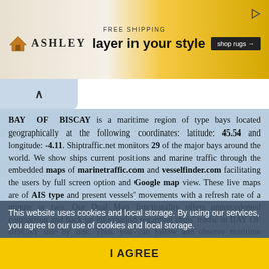[Figure (screenshot): Ashley furniture advertisement banner with house logo, FREE SHIPPING text, 'layer in your style' tagline, shop rugs button, and decorative background]
BAY OF BISCAY is a maritime region of type bays located geographically at the following coordinates: latitude: 45.54 and longitude: -4.11. Shiptraffic.net monitors 29 of the major bays around the world. We show ships current positions and marine traffic through the embedded maps of marinetraffic.com and vesselfinder.com facilitating the users by full screen option and Google map view. These live maps are of AIS type and present vessels' movements with a refresh rate of a minute or two. Our Dual Map functionality offers unprecedented comparison and back up information regarding ships' traffic in BAY OF BISCAY side by side. Thus, you can follow and observe maritime distress situations, naval exercises, war conflicts, sinking of ships locations, drifting vessels and images of cargo and local damage. Related to each geographical position and ships' photos for BAY OF BISCAY there are buttons for photos and video, directing you to Google Images and YouTube. Full list of all other bays that shiptraffic.net displays can be seen below here...
This website uses cookies and local storage. By using our services, you agree to our use of cookies and local storage.
I AGREE